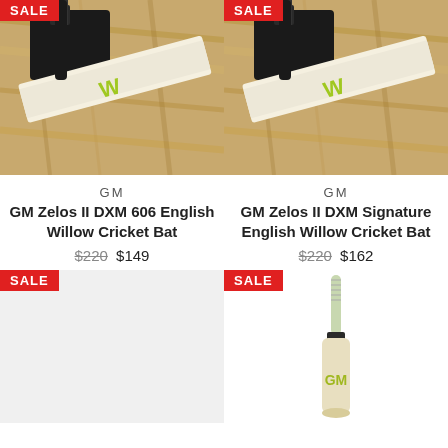[Figure (photo): GM cricket bat in workshop with wood shavings - left product]
GM
GM Zelos II DXM 606 English Willow Cricket Bat
$220 $149
[Figure (photo): GM cricket bat in workshop with wood shavings - right product]
GM
GM Zelos II DXM Signature English Willow Cricket Bat
$220 $162
SALE
[Figure (photo): Empty placeholder / gray area for left bottom product]
SALE
[Figure (photo): GM cricket bat standing upright, green/white coloring, bottom right product]